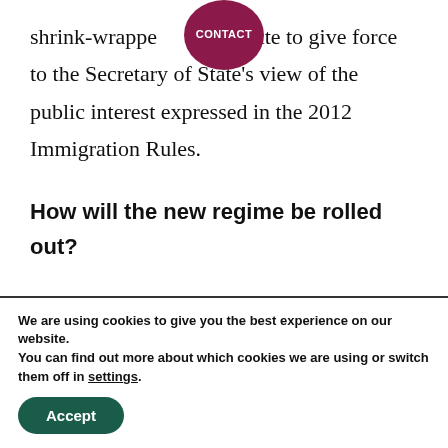shrink-wrapped statute to give force to the Secretary of State's view of the public interest expressed in the 2012 Immigration Rules.
How will the new regime be rolled out?
We are using cookies to give you the best experience on our website.
You can find out more about which cookies we are using or switch them off in settings.